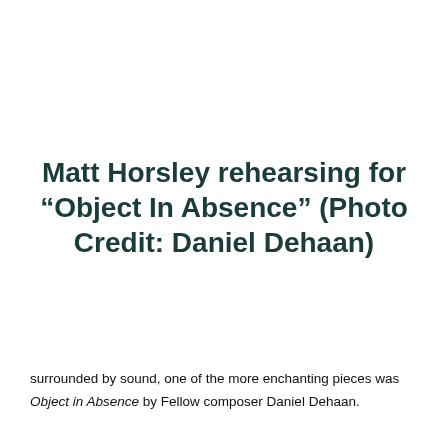Matt Horsley rehearsing for “Object In Absence” (Photo Credit: Daniel Dehaan)
surrounded by sound, one of the more enchanting pieces was Object in Absence by Fellow composer Daniel Dehaan.